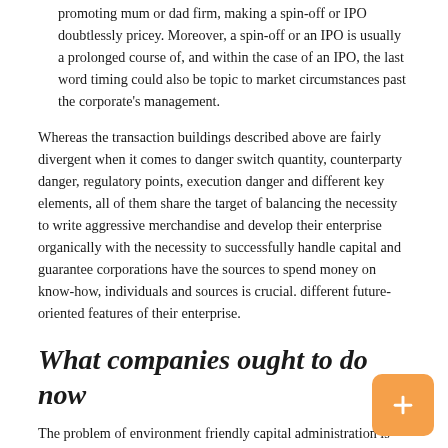promoting mum or dad firm, making a spin-off or IPO doubtlessly pricey. Moreover, a spin-off or an IPO is usually a prolonged course of, and within the case of an IPO, the last word timing could also be topic to market circumstances past the corporate's management.
Whereas the transaction buildings described above are fairly divergent when it comes to danger switch quantity, counterparty danger, regulatory points, execution danger and different key elements, all of them share the target of balancing the necessity to write aggressive merchandise and develop their enterprise organically with the necessity to successfully handle capital and guarantee corporations have the sources to spend money on know-how, individuals and sources is crucial. different future-oriented features of their enterprise.
What companies ought to do now
The problem of environment friendly capital administration is widespread to all corporations working within the insurance coverage business. The higher corporations handle to strike a steadiness between sustaining the competence of their...